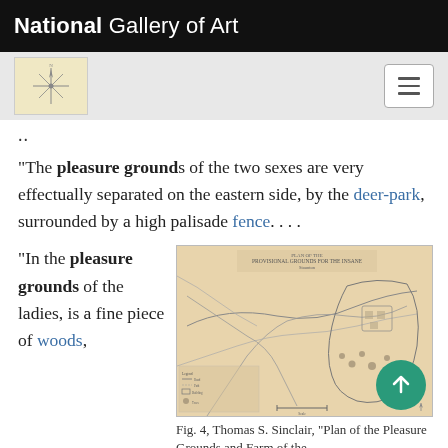National Gallery of Art
..
"The pleasure grounds of the two sexes are very effectually separated on the eastern side, by the deer-park, surrounded by a high palisade fence. . . .
"In the pleasure grounds of the ladies, is a fine piece of woods,
[Figure (map): Historical map plan of pleasure grounds and farm, sepia toned, labeled as Fig. 4 by Thomas S. Sinclair]
Fig. 4, Thomas S. Sinclair, "Plan of the Pleasure Grounds and Farm of the